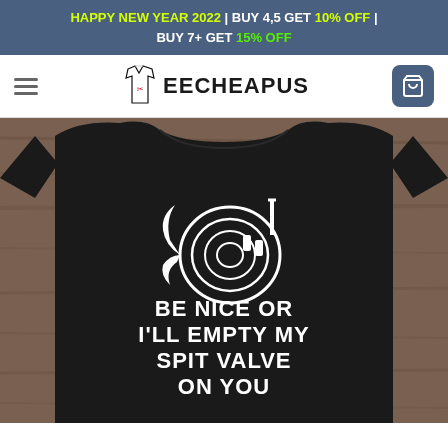HAPPY NEW YEAR 2022 | BUY 4,5 GET 10% OFF | BUY 7+ GET 15% OFF
[Figure (logo): Teecheapus logo with t-shirt icon and bold text]
[Figure (photo): Black t-shirt on wooden background with French horn graphic and text 'BE NICE OR I'LL EMPTY MY SPIT VALVE ON YOU']